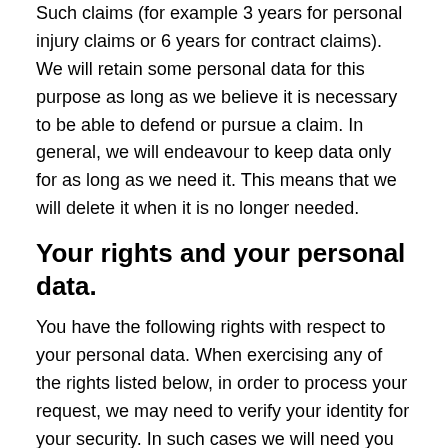Such claims (for example 3 years for personal injury claims or 6 years for contract claims). We will retain some personal data for this purpose as long as we believe it is necessary to be able to defend or pursue a claim. In general, we will endeavour to keep data only for as long as we need it. This means that we will delete it when it is no longer needed.
Your rights and your personal data.
You have the following rights with respect to your personal data. When exercising any of the rights listed below, in order to process your request, we may need to verify your identity for your security. In such cases we will need you to respond with proof of your identity before you can exercise these rights.